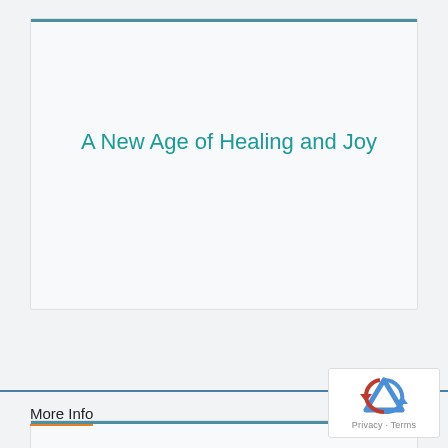A New Age of Healing and Joy
Jesus and Mary Magdalene - Jesus, Sexuality and the Bible
More Info